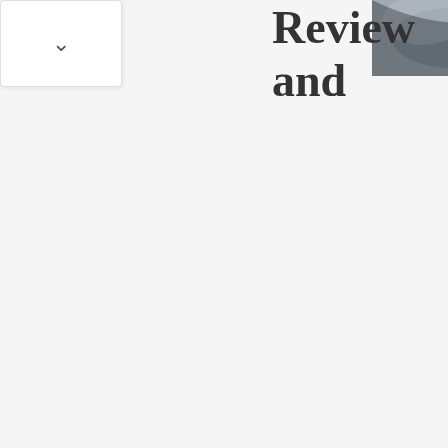[Figure (screenshot): UI panel with a downward chevron/arrow button, white background with border]
[Figure (photo): Two overlapping photographic images showing close-up of what appears to be a vehicle or mechanical surface in grey tones]
Review and